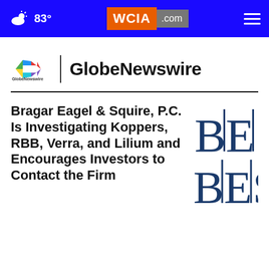83° WCIA.com
[Figure (logo): GlobeNewswire by notified logo with colorful arrow icon and text 'GlobeNewswire' in bold]
Bragar Eagel & Squire, P.C. Is Investigating Koppers, RBB, Verra, and Lilium and Encourages Investors to Contact the Firm
[Figure (logo): BES logo — large blue letters B, E, S separated by vertical bars]